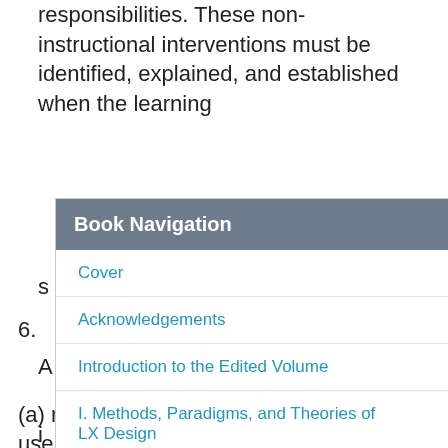responsibilities. These non-instructional interventions must be identified, explained, and established when the learning i... n order t... s...
[Figure (screenshot): A modal dialog titled 'Book Navigation' with an X close button, overlaying the page content. Contains links: Cover, Acknowledgements, Introduction to the Edited Volume, I. Methods, Paradigms, and Theories of LX Design.]
6. M... lity by P... w... may i... i... ped to (a) measure the degree that the desired user state of performance has been reached, (b) ascertain the non-instructional interventions...